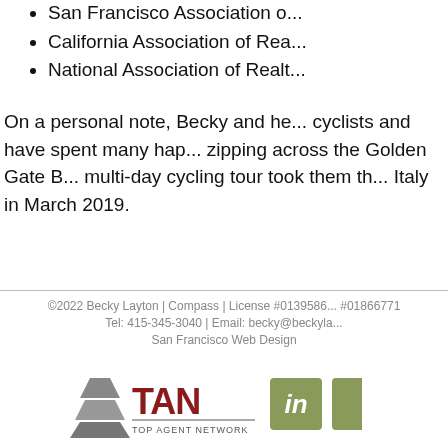San Francisco Association o...
California Association of Rea...
National Association of Realt...
On a personal note, Becky and he... cyclists and have spent many hap... zipping across the Golden Gate B... multi-day cycling tour took them th... Italy in March 2019.
©2022 Becky Layton | Compass | License #0139586... #01866771
Tel: 415-345-3040 | Email: becky@beckyla...
San Francisco Web Design
[Figure (logo): Top Agent Network (TAN) logo with pyramid icon, and LinkedIn icon, and partially visible second social media icon]